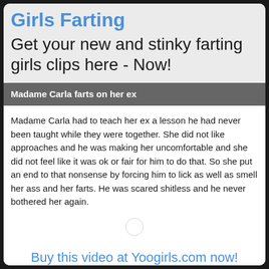Girls Farting
Get your new and stinky farting girls clips here - Now!
Madame Carla farts on her ex
Madame Carla had to teach her ex a lesson he had never been taught while they were together. She did not like approaches and he was making her uncomfortable and she did not feel like it was ok or fair for him to do that. So she put an end to that nonsense by forcing him to lick as well as smell her ass and her farts. He was scared shitless and he never bothered her again.
Buy this video at Yoogirls.com now!